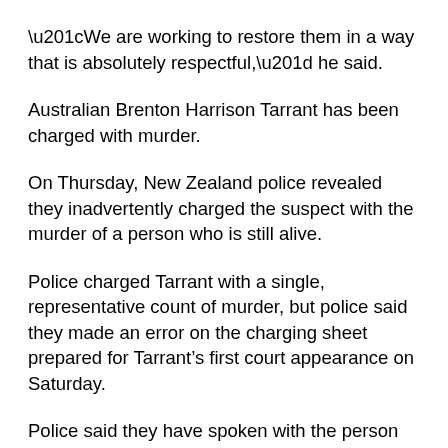“We are working to restore them in a way that is absolutely respectful,” he said.
Australian Brenton Harrison Tarrant has been charged with murder.
On Thursday, New Zealand police revealed they inadvertently charged the suspect with the murder of a person who is still alive.
Police charged Tarrant with a single, representative count of murder, but police said they made an error on the charging sheet prepared for Tarrant’s first court appearance on Saturday.
Police said they have spoken with the person incorrectly named on the document and have apologised, and said they would change the entry.
The name of the person on the charging sheet has been suppressed by court order.